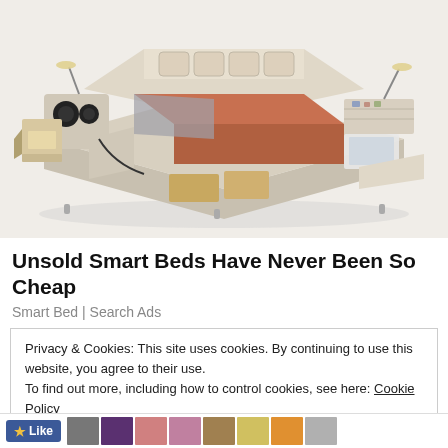[Figure (photo): A large smart bed with multiple features including storage drawers, speakers, massage chair, reading lamps, shelving, and laptop stand, shown in a beige/cream leather finish from an isometric view]
Unsold Smart Beds Have Never Been So Cheap
Smart Bed | Search Ads
Privacy & Cookies: This site uses cookies. By continuing to use this website, you agree to their use.
To find out more, including how to control cookies, see here: Cookie Policy
Close and accept
[Figure (other): Footer bar with a Like button and a strip of small thumbnail images]